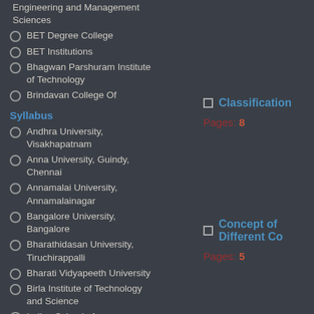Engineering and Management Sciences
BET Degree College
BET Institutions
Bhagwan Parshuram Institute of Technology
Brindavan College Of
Classification
Pages: 8
Syllabus
Andhra University, Visakhapatnam
Anna University, Guindy, Chennai
Annamalai University, Annamalainagar
Concept of Different Co
Pages: 5
Bangalore University, Bangalore
Bharathidasan University, Tiruchirappalli
Bharati Vidyapeeth University
Birla Institute of Technology and Science
Indian School of Mines,Dhanbad
Taxonomic Procedure